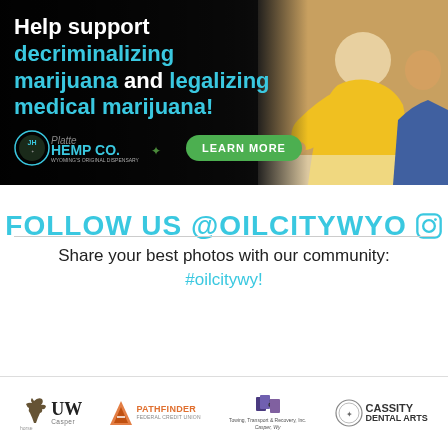[Figure (infographic): Dark banner advertisement for Platte Hemp Co. Wyoming's Original Dispensary with text 'Help support decriminalizing marijuana and legalizing medical marijuana!' and a LEARN MORE button, with a photo of a person in a yellow jacket signing a document on the right side.]
FOLLOW US @OILCITYWYO
Share your best photos with our community: #oilcitywy!
[Figure (logo): Sponsor logos: UW Casper, Pathfinder Federal Credit Union, & L Towing Transport & Recovery Inc. Casper WY, Cassity Dental Arts]